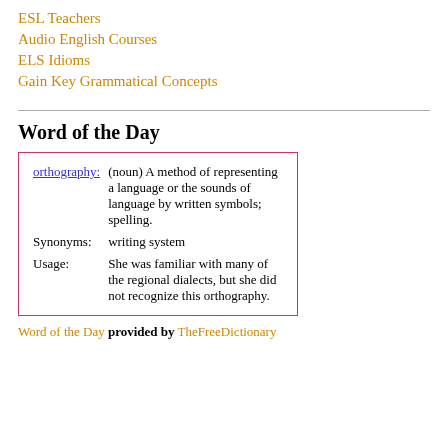ESL Teachers
Audio English Courses
ELS Idioms
Gain Key Grammatical Concepts
Word of the Day
|  |  |
| --- | --- |
| orthography: | (noun) A method of representing a language or the sounds of language by written symbols; spelling. |
| Synonyms: | writing system |
| Usage: | She was familiar with many of the regional dialects, but she did not recognize this orthography. |
Word of the Day provided by TheFreeDictionary